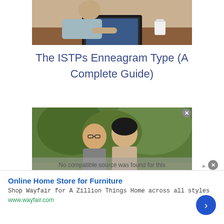[Figure (photo): Woman working on laptop at a wooden desk with a coffee cup]
The ISTPs Enneagram Type (A Complete Guide)
[Figure (photo): Smiling couple standing outdoors in front of green trees, with video overlay text 'No compatible source was found for this']
Online Home Store for Furniture
Shop Wayfair for A Zillion Things Home across all styles
www.wayfair.com